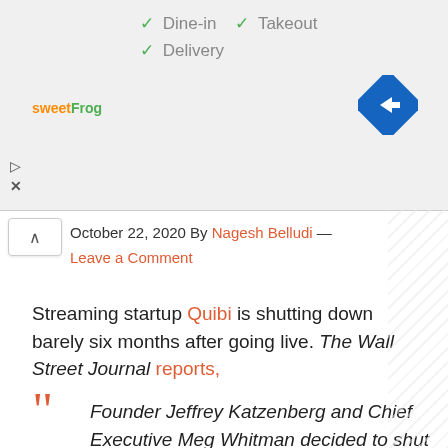[Figure (screenshot): Advertisement banner showing sweetFrog logo with dine-in, takeout, and delivery checkmarks, and a blue navigation arrow icon]
October 22, 2020 By Nagesh Belludi — Leave a Comment
Streaming startup Quibi is shutting down barely six months after going live. The Wall Street Journal reports,
Founder Jeffrey Katzenberg and Chief Executive Meg Whitman decided to shut down the company in an effort to return as much capital to investors as